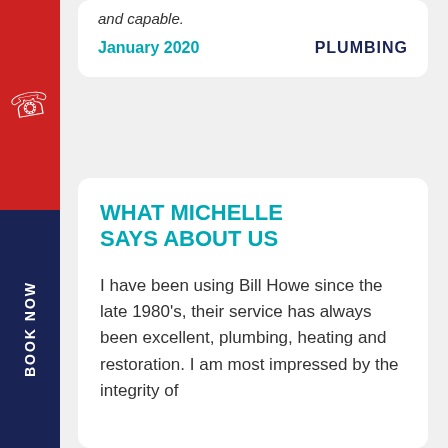and capable.
January 2020    PLUMBING
WHAT MICHELLE SAYS ABOUT US
I have been using Bill Howe since the late 1980's, their service has always been excellent, plumbing, heating and restoration. I am most impressed by the integrity of